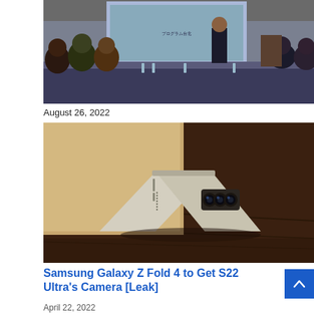[Figure (photo): Conference room scene with people seated around a table, a presenter standing, and a projection screen showing a presentation with text.]
August 26, 2022
[Figure (photo): Samsung Galaxy Z Fold 4 smartphone folded open in tent mode on a dark wooden surface, showing rear triple camera system and silver/cream color.]
Samsung Galaxy Z Fold 4 to Get S22 Ultra's Camera [Leak]
April 22, 2022